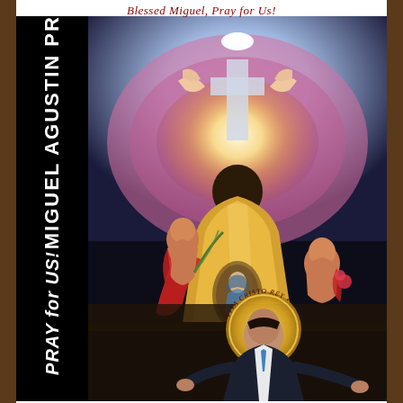Blessed Miguel, Pray for Us!
[Figure (illustration): Religious painting depicting Blessed Miguel Agustin Pro. A priest in golden vestments with Our Lady of Guadalupe on the back faces a glowing cross with a dove above it, surrounded by cherubs/angels with red ribbons and flowers. In the foreground, a man in a suit with a halo inscribed 'Viva Cristo Rey' stands with arms outstretched.]
MIGUEL AGUSTIN PRO
PRAY for US!